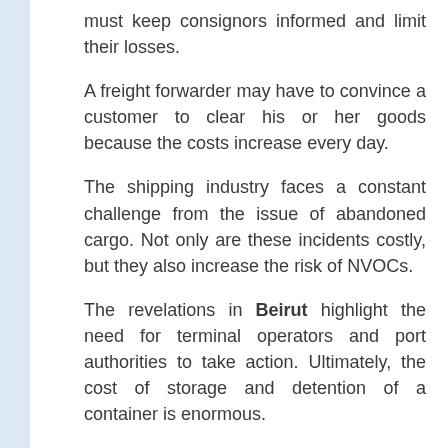must keep consignors informed and limit their losses.
A freight forwarder may have to convince a customer to clear his or her goods because the costs increase every day.
The shipping industry faces a constant challenge from the issue of abandoned cargo. Not only are these incidents costly, but they also increase the risk of NVOCs.
The revelations in Beirut highlight the need for terminal operators and port authorities to take action. Ultimately, the cost of storage and detention of a container is enormous.
It can also negatively impact commercial relationships. Therefore, StopLoss is designed to provide practical guidance to those affected by this issue.
In some cases, cargo is abandoned due to a lack of